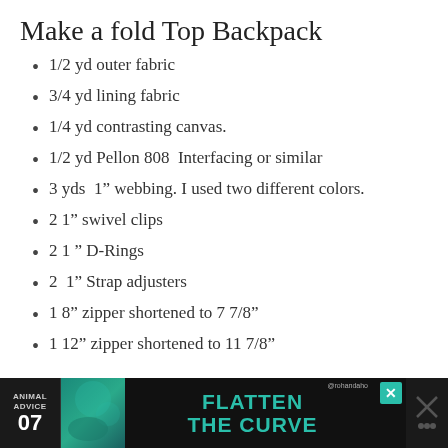Make a fold Top Backpack
1/2 yd outer fabric
3/4 yd lining fabric
1/4 yd contrasting canvas.
1/2 yd Pellon 808  Interfacing or similar
3 yds  1” webbing. I used two different colors.
2 1” swivel clips
2 1 ” D-Rings
2  1” Strap adjusters
1 8” zipper shortened to 7 7/8”
1 12” zipper shortened to 11 7/8”
[Figure (other): Advertisement banner at bottom: ANIMAL ADVICE 07, FLATTEN THE CURVE, @rohandaho handle, teal/dark themed ad with decorative image]